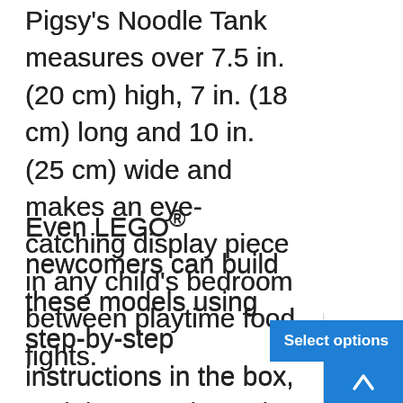Pigsy's Noodle Tank measures over 7.5 in. (20 cm) high, 7 in. (18 cm) long and 10 in. (25 cm) wide and makes an eye-catching display piece in any child's bedroom between playtime food fights.
Even LEGO® newcomers can build these models using step-by-step instructions in the box, and the experience is enhanced by digital Instructions PLUS on the free LEGO Building Instructions app.
LEGO® Monkie Kid™ building sets are inspired the legend of the Monkey King. They help children learn about Chinese culture and develop their optimism, bravery and resilience while having fun.
LEGO® components meet rigorous industry standards ensure that they are compatible and connected securely every time.
LEGO® components are tested in almost every way imaginable to ensure that they are not only safe for...
[Figure (screenshot): UI overlay elements: shopping cart icon with blue badge showing '0', user/account icon, blue 'Select options' button, and blue scroll-up arrow button in the bottom-right corner of the page.]